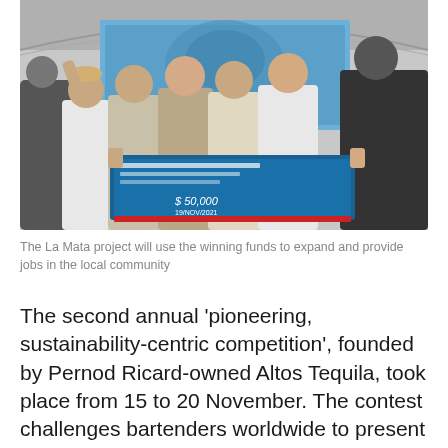[Figure (photo): Group of people celebrating indoors, holding a large blue banner/check for $50,000 USD dated 19/Nov/2021, in what appears to be an event venue with industrial ceiling.]
The La Mata project will use the winning funds to expand and provide jobs in the local community
The second annual 'pioneering, sustainability-centric competition', founded by Pernod Ricard-owned Altos Tequila, took place from 15 to 20 November. The contest challenges bartenders worldwide to present initiatives that benefit staff,